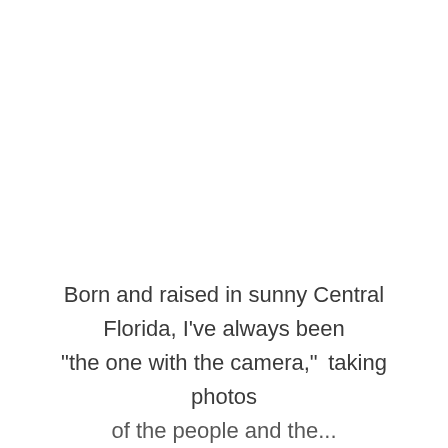Born and raised in sunny Central Florida, I've always been “the one with the camera,” taking photos of the people and the...